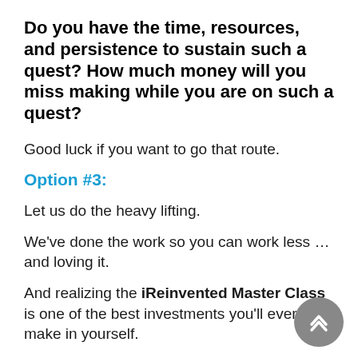Do you have the time, resources, and persistence to sustain such a quest? How much money will you miss making while you are on such a quest?
Good luck if you want to go that route.
Option #3:
Let us do the heavy lifting.
We've done the work so you can work less … and loving it.
And realizing the iReinvented Master Class is one of the best investments you'll ever make in yourself.
You'll be taking advantage of the many years of experience and knowledge we